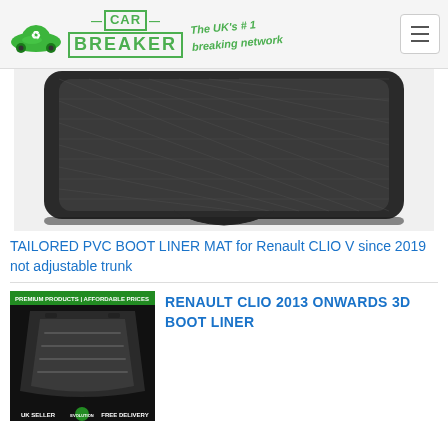CAR BREAKER — The UK's #1 breaking network
[Figure (photo): Close-up photo of a black tailored PVC boot liner mat with diamond pattern texture for Renault CLIO V]
TAILORED PVC BOOT LINER MAT for Renault CLIO V since 2019 not adjustable trunk
[Figure (photo): Product photo of a black 3D boot liner mat on dark background with 'PREMIUM PRODUCTS | AFFORDABLE PRICES' banner at top and 'UK SELLER | EVOLUTION | FREE DELIVERY' banner at bottom]
RENAULT CLIO 2013 ONWARDS 3D BOOT LINER